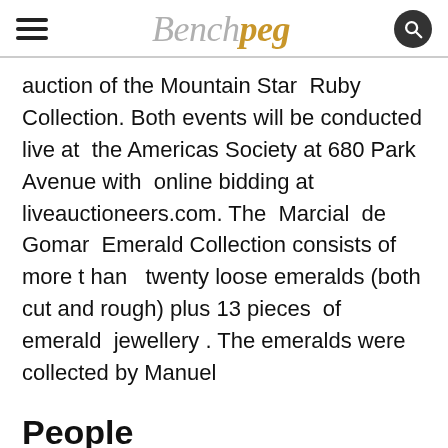Benchpeg
auction of the Mountain Star Ruby Collection. Both events will be conducted live at the Americas Society at 680 Park Avenue with online bidding at liveauctioneers.com. The Marcial de Gomar Emerald Collection consists of more than twenty loose emeralds (both cut and rough) plus 13 pieces of emerald jewellery . The emeralds were collected by Manuel
People